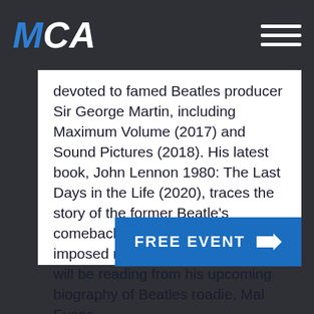MCA
devoted to famed Beatles producer Sir George Martin, including Maximum Volume (2017) and Sound Pictures (2018). His latest book, John Lennon 1980: The Last Days in the Life (2020), traces the story of the former Beatle’s comeback after five years of self-imposed retirement. Dr. Womack will be reading from his upcoming biography of Beatles roadie, Mal Evans.
FREE EVENT →